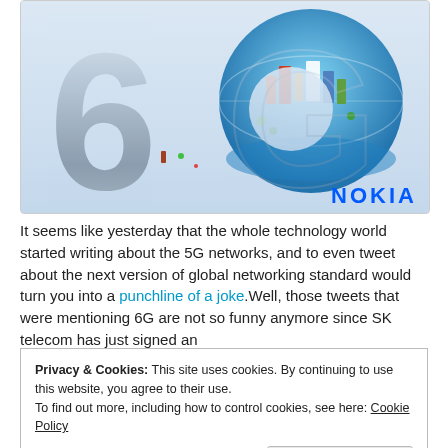[Figure (illustration): Nokia 6G promotional image with large stylized '6G' text — the '6' rendered in metallic silver 3D style and the 'G' as a globe showing a colorful illustrated smart city scene with buildings, vehicles, people, and connectivity elements. Nokia logo in blue at bottom right.]
It seems like yesterday that the whole technology world started writing about the 5G networks, and to even tweet about the next version of global networking standard would turn you into a punchline of a joke.Well, those tweets that were mentioning 6G are not so funny anymore since SK telecom has just signed an
Privacy & Cookies: This site uses cookies. By continuing to use this website, you agree to their use.
To find out more, including how to control cookies, see here: Cookie Policy
Close and accept